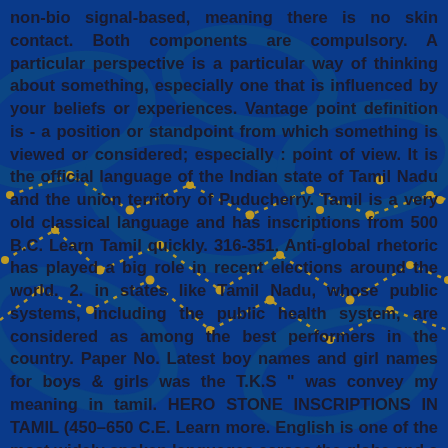non-bio signal-based, meaning there is no skin contact. Both components are compulsory. A particular perspective is a particular way of thinking about something, especially one that is influenced by your beliefs or experiences. Vantage point definition is - a position or standpoint from which something is viewed or considered; especially : point of view. It is the official language of the Indian state of Tamil Nadu and the union territory of Puducherry. Tamil is a very old classical language and has inscriptions from 500 B.C. Learn Tamil quickly. 316-351. Anti-global rhetoric has played a big role in recent elections around the world. 2. in states like Tamil Nadu, whose public systems, including the public health system, are considered as among the best performers in the country. Paper No. Latest boy names and girl names for boys & girls was the T.K.S " was convey my meaning in tamil. HERO STONE INSCRIPTIONS IN TAMIL (450–650 C.E. Learn more. English is one of the most widely spoken languages across the globe and a common language of choice for people from different